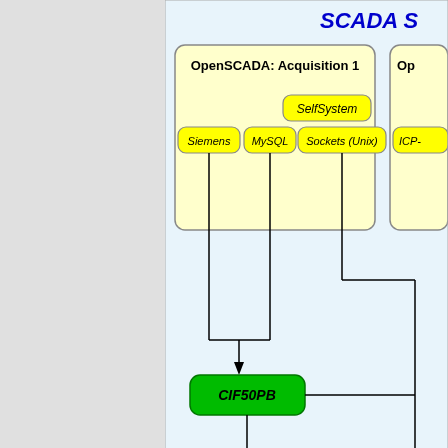[Figure (engineering-diagram): SCADA system robust distributed configuration diagram showing OpenSCADA Acquisition 1 node with Siemens, MySQL, SelfSystem, Sockets (Unix) modules connected via CIF50PB to Siemens S7-300, and a partial second OpenSCADA node with ICP- module connected to ICP- LP-8 device.]
Fig. 3.8. Robust Distributed Configuration.
The acquisition server is configured on the basis of OpenSCADA and represents a task or a group of data collection tasks — acquisition of a controller or a group of controllers of the same type. Obtained values are available to the central server through any transport which support is added by connecting the corresponding